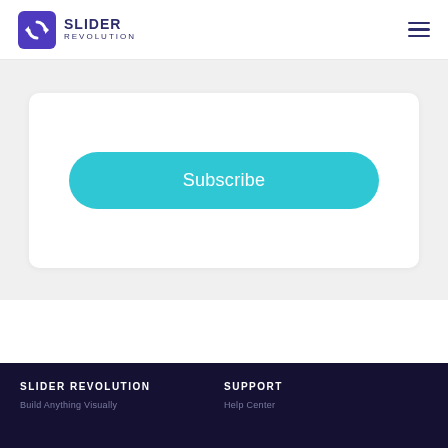SLIDER REVOLUTION
[Figure (screenshot): Subscribe button (pill-shaped, cyan/teal color) inside a white card on a light gray background]
SLIDER REVOLUTION
SUPPORT
Build Anything Visually
Help Center